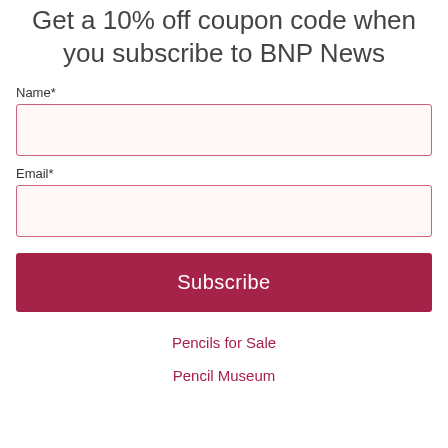Get a 10% off coupon code when you subscribe to BNP News
Name*
Email*
Subscribe
Pencils for Sale
Pencil Museum